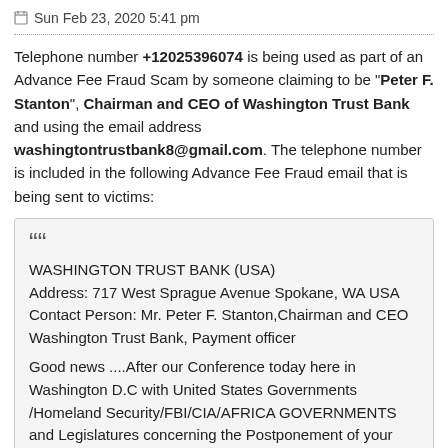Sun Feb 23, 2020 5:41 pm
Telephone number +12025396074 is being used as part of an Advance Fee Fraud Scam by someone claiming to be "Peter F. Stanton", Chairman and CEO of Washington Trust Bank and using the email address washingtontrustbank8@gmail.com. The telephone number is included in the following Advance Fee Fraud email that is being sent to victims:
WASHINGTON TRUST BANK (USA)
Address: 717 West Sprague Avenue Spokane, WA USA
Contact Person: Mr. Peter F. Stanton,Chairman and CEO Washington Trust Bank, Payment officer

Good news ....After our Conference today here in Washington D.C with United States Governments /Homeland Security/FBI/CIA/AFRICA GOVERNMENTS and Legislatures concerning the Postponement of your Inheritance payment of USD$200,000,000.00 from Africa's .... We all have inveterate that you have been dealing with impostors fraudulent in Africa/s for many